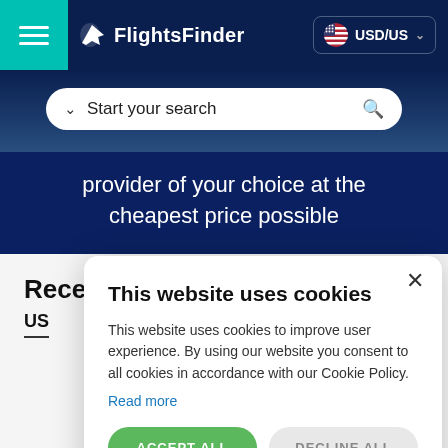FlightsFinder — USD/US
Start your search
provider of your choice at the cheapest price possible
Rece
US
This website uses cookies
This website uses cookies to improve user experience. By using our website you consent to all cookies in accordance with our Cookie Policy.
Read more
ACCEPT ALL
DECLINE ALL
SHOW DETAILS